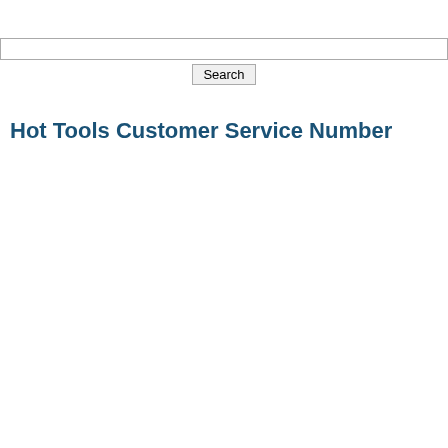[Figure (screenshot): Search bar input field with a Search button below it]
Hot Tools Customer Service Number